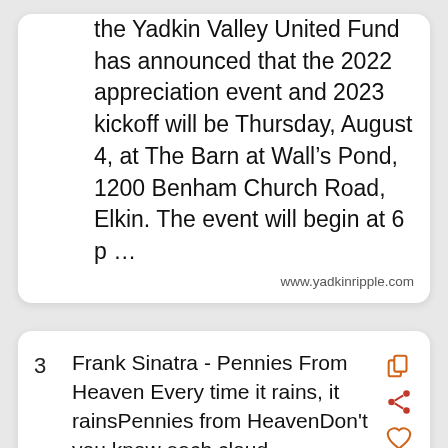the Yadkin Valley United Fund has announced that the 2022 appreciation event and 2023 kickoff will be Thursday, August 4, at The Barn at Wall's Pond, 1200 Benham Church Road, Elkin. The event will begin at 6 p …
www.yadkinripple.com
3
Frank Sinatra - Pennies From Heaven Every time it rains, it rainsPennies from HeavenDon't you know each cloud containsPennies from HeavenYou'll find your for...
www.youtube.com
4
<strong>Yv</strong> felt her clit vibrate almost in time to the